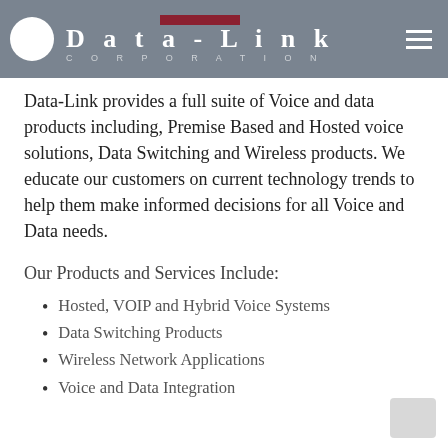Data-Link Corporation
Data-Link provides a full suite of Voice and data products including, Premise Based and Hosted voice solutions, Data Switching and Wireless products. We educate our customers on current technology trends to help them make informed decisions for all Voice and Data needs.
Our Products and Services Include:
Hosted, VOIP and Hybrid Voice Systems
Data Switching Products
Wireless Network Applications
Voice and Data Integration